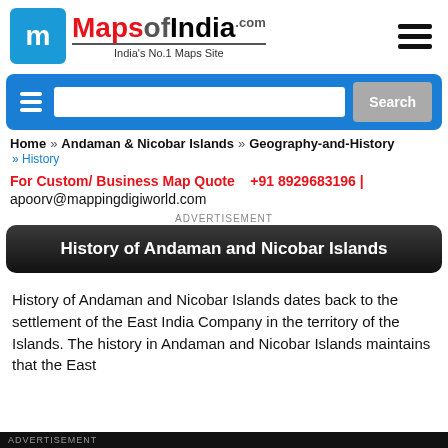[Figure (logo): MapsofIndia.com logo with blue 'm' box, red 'Maps', grey 'of', black 'India', tagline 'India's No.1 Maps Site']
[Figure (other): Hamburger menu icon (three horizontal bars) in top right]
[Figure (other): Blue search bar with hamburger icon, text input field, and Search button]
Home » Andaman & Nicobar Islands » Geography-and-History » History
For Custom/ Business Map Quote   +91 8929683196 | apoorv@mappingdigiworld.com
ADVERTISEMENT
History of Andaman and Nicobar Islands
History of Andaman and Nicobar Islands dates back to the settlement of the East India Company in the territory of the Islands. The history in Andaman and Nicobar Islands maintains that the East
ADVERTISEMENT